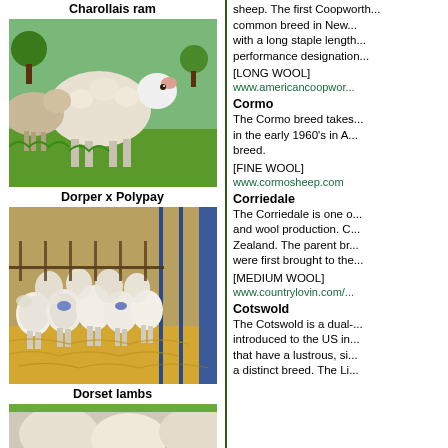Charollais ram
[Figure (photo): Photo of Charollais ram sheep in a field]
Dorper x Polypay
[Figure (photo): Photo of Dorset lambs in a barn]
Dorset lambs
[Figure (photo): Partial photo at bottom of left column]
sheep. The first Coopworth... common breed in New... with a long staple length... performance designation...
[LONG WOOL]
www.americancoopwor...
Cormo
The Cormo breed takes... in the early 1960's in A... breed.
[FINE WOOL]
www.cormosheep.com
Corriedale
The Corriedale is one o... and wool production. C... Zealand. The parent br... were first brought to the...
[MEDIUM WOOL]
www.countrylovin.com/...
Cotswold
The Cotswold is a dual-... introduced to the US in... that have a lustrous, si... a distinct breed. The Li...